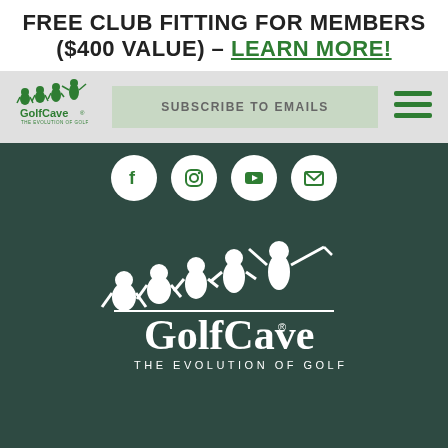FREE CLUB FITTING FOR MEMBERS ($400 VALUE) – LEARN MORE!
[Figure (logo): GolfCave logo with evolution of golf silhouettes in green, small version in nav bar]
SUBSCRIBE TO EMAILS
[Figure (infographic): Social media icons row: Facebook, Instagram, YouTube, Email on dark green background]
[Figure (logo): GolfCave large white logo with evolution of golf silhouettes on dark green background, tagline THE EVOLUTION OF GOLF]